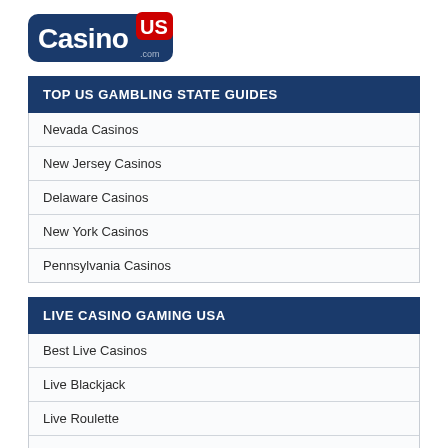[Figure (logo): CasinoUS.com logo with blue and red text]
TOP US GAMBLING STATE GUIDES
Nevada Casinos
New Jersey Casinos
Delaware Casinos
New York Casinos
Pennsylvania Casinos
LIVE CASINO GAMING USA
Best Live Casinos
Live Blackjack
Live Roulette
Live Baccarat